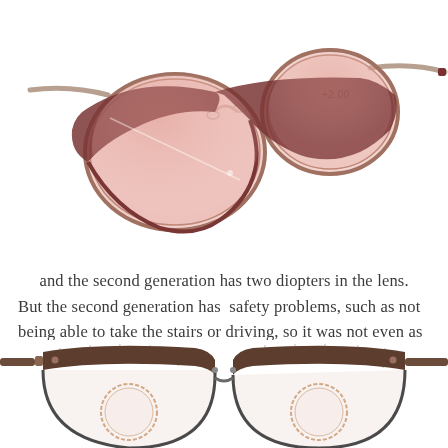[Figure (photo): Photo of pink-tinted aviator-style reading glasses with gold metal frame, showing '+2.00' engraved on the lens, photographed on a white background at an angle.]
and the second generation has two diopters in the lens. But the second generation has  safety problems, such as not being able to take the stairs or driving, so it was not even as popular as the first generation.
[Figure (photo): Photo of browline-style reading glasses with wood-grain patterned frame, featuring two circular magnifying lens inserts, photographed from the front on a white background.]